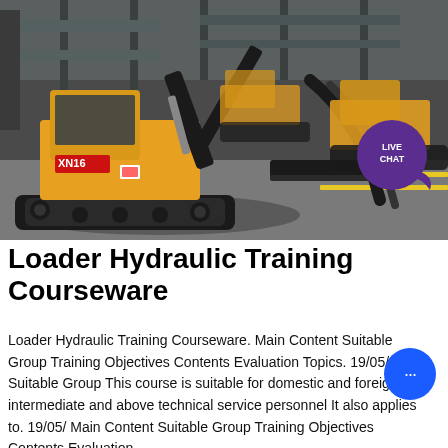[Figure (photo): Indoor warehouse/factory scene showing multiple yellow and black mini excavators (XN16 model). The machines are parked on a grey concrete floor with yellow line markings. A live chat badge with purple circle and speech bubble is overlaid in the top-right corner of the image.]
Loader Hydraulic Training Courseware
Loader Hydraulic Training Courseware. Main Content Suitable Group Training Objectives Contents Evaluation Topics. 19/05/ Suitable Group This course is suitable for domestic and foreign intermediate and above technical service personnel It also applies to. 19/05/ Main Content Suitable Group Training Objectives Contents Evaluation